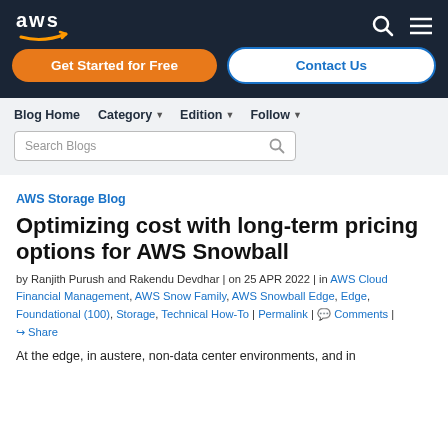[Figure (logo): AWS logo in white on dark navy header bar with search and menu icons]
Get Started for Free
Contact Us
Blog Home  Category  Edition  Follow  Search Blogs
AWS Storage Blog
Optimizing cost with long-term pricing options for AWS Snowball
by Ranjith Purush and Rakendu Devdhar | on 25 APR 2022 | in AWS Cloud Financial Management, AWS Snow Family, AWS Snowball Edge, Edge, Foundational (100), Storage, Technical How-To | Permalink | Comments | Share
At the edge, in austere, non-data center environments, and in